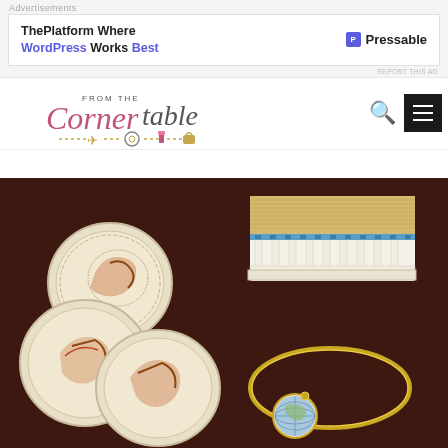Advertisements
[Figure (screenshot): Advertisement banner for Pressable - ThePlatform Where WordPress Works Best]
[Figure (logo): From The Corner Table blog logo with cursive text and travel/lifestyle icons (airplane, ring, lipstick, bag)]
[Figure (photo): Overhead photo of souvenir items on dark table: decorative plates with Greek/historical motifs, a miniature ancient temple/Parthenon model, and a gold bangle bracelet with a small globe pendant]